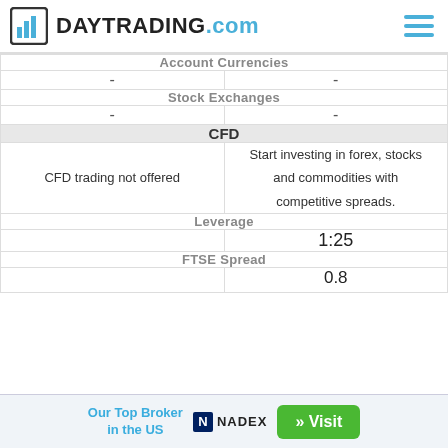DAYTRADING.com
| Account Currencies | Account Currencies |
| --- | --- |
| - | - |
| Stock Exchanges | Stock Exchanges |
| - | - |
| CFD | CFD |
| CFD trading not offered | Start investing in forex, stocks and commodities with competitive spreads. |
| Leverage | Leverage |
| - | 1:25 |
| FTSE Spread | FTSE Spread |
| - | 0.8 |
Our Top Broker in the US
NADEX
» Visit